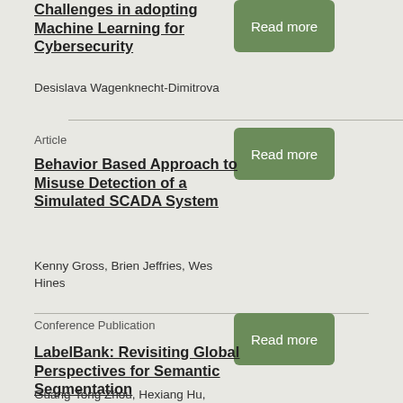Challenges in adopting Machine Learning for Cybersecurity
Desislava Wagenknecht-Dimitrova
Article
Behavior Based Approach to Misuse Detection of a Simulated SCADA System
Kenny Gross, Brien Jeffries, Wes Hines
Conference Publication
LabelBank: Revisiting Global Perspectives for Semantic Segmentation
Guang-Tong Zhou, Hexiang Hu, Zhiwei Deng, Fei Chen, Greg Mori